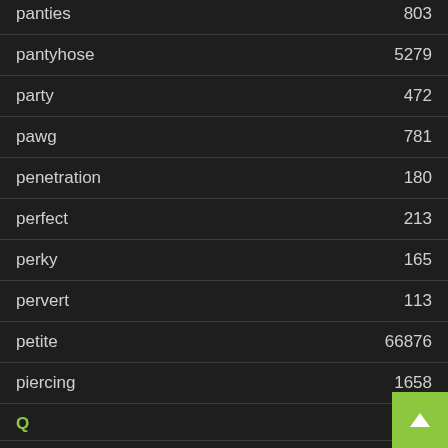panties 803
pantyhose 5279
party 472
pawg 781
penetration 180
perfect 213
perky 165
pervert 113
petite 66876
piercing 1658
Q
quickie 3
R
real 415
redhead 8117
riding